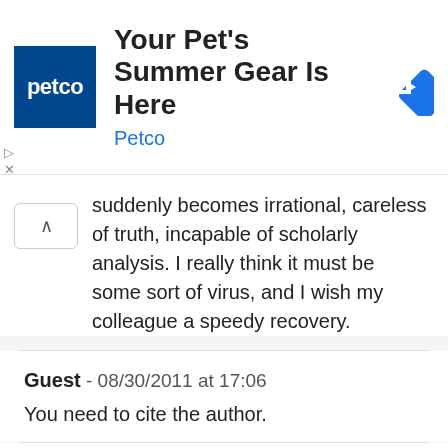[Figure (illustration): Petco advertisement banner: Petco logo (dark blue square with 'petco' in white text), headline 'Your Pet's Summer Gear Is Here', subtext 'Petco' in blue, and a blue diamond-shaped navigation arrow icon on the right.]
suddenly becomes irrational, careless of truth, incapable of scholarly analysis. I really think it must be some sort of virus, and I wish my colleague a speedy recovery.
Guest - 08/30/2011 at 17:06
You need to cite the author.
Vlatko - 08/30/2011 at 17:33
@Rodrigo Pereira,

Cite the author and if you want to copy/paste something please use/paste highlighted the...